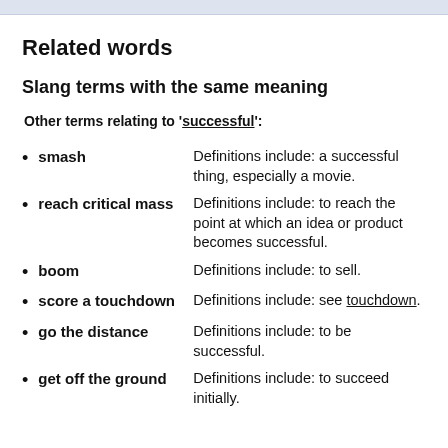Related words
Slang terms with the same meaning
Other terms relating to 'successful':
smash — Definitions include: a successful thing, especially a movie.
reach critical mass — Definitions include: to reach the point at which an idea or product becomes successful.
boom — Definitions include: to sell.
score a touchdown — Definitions include: see touchdown.
go the distance — Definitions include: to be successful.
get off the ground — Definitions include: to succeed initially.